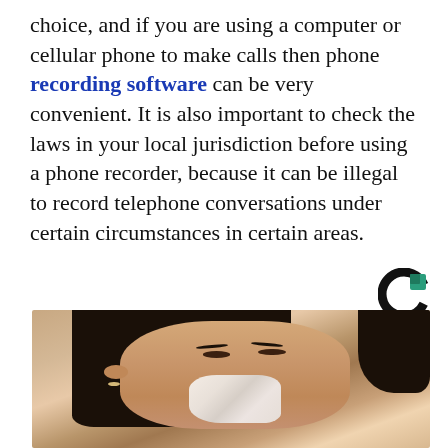choice, and if you are using a computer or cellular phone to make calls then phone recording software can be very convenient. It is also important to check the laws in your local jurisdiction before using a phone recorder, because it can be illegal to record telephone conversations under certain circumstances in certain areas.
[Figure (logo): Circular C logo with teal/green accent, black outline]
[Figure (photo): A person with dark hair applying a white cream or face mask to their face, looking upward to the right]